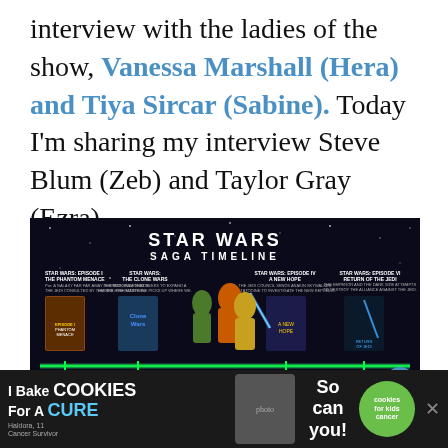interview with the ladies of the show, Vanessa Marshall (Hera) and Tiya Sircar (Sabine). Today I'm sharing my interview Steve Blum (Zeb) and Taylor Gray (Ezra).
[Figure (infographic): Star Wars Saga Timeline infographic showing the chronological order of Star Wars movies and animated series including Episode I The Phantom Menace, The Clone Wars, Rebels characters, Episode IV A New Hope, Episode VI Return of the Jedi, and others along a glowing green timeline. Features movie posters and animated characters.]
[Figure (other): Advertisement banner: 'I Bake COOKIES For A CURE' with Haldora, 11 Cancer Survivor. Cookies for Kids Cancer. So can you!]